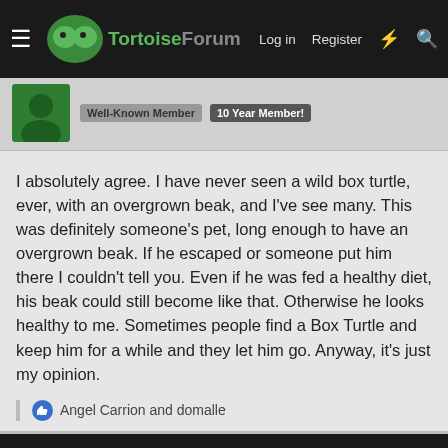TortoiseForum — Log in  Register
Well-Known Member  10 Year Member!
I absolutely agree. I have never seen a wild box turtle, ever, with an overgrown beak, and I've see many. This was definitely someone's pet, long enough to have an overgrown beak. If he escaped or someone put him there I couldn't tell you. Even if he was fed a healthy diet, his beak could still become like that. Otherwise he looks healthy to me. Sometimes people find a Box Turtle and keep him for a while and they let him go. Anyway, it's just my opinion.
Angel Carrion and domalle
Sep 17, 2015  #19
In-store shopping